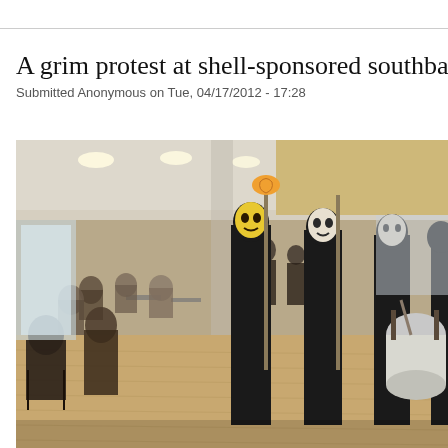A grim protest at shell-sponsored southba
Submitted Anonymous on Tue, 04/17/2012 - 17:28
[Figure (photo): Indoor protest scene showing people dressed in black robes and skull masks marching through a large public venue (likely Southbank Centre or similar), carrying staffs and drums, while other visitors sit at tables in the background.]